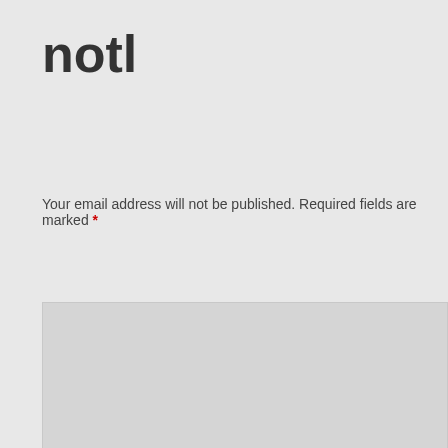notl
Your email address will not be published. Required fields are marked *
Privacy & Cookies: This site uses cookies. By continuing to use this website, you agree to their use.
To find out more, including how to control cookies, see here: Cookie Policy
Close and accept